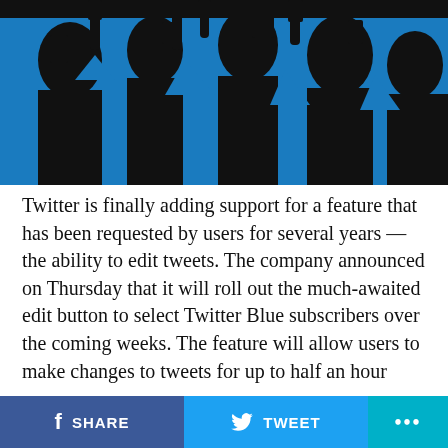[Figure (photo): Silhouettes of people holding phones against a blue background, black foreground shadows creating contrast]
Twitter is finally adding support for a feature that has been requested by users for several years — the ability to edit tweets. The company announced on Thursday that it will roll out the much-awaited edit button to select Twitter Blue subscribers over the coming weeks. The feature will allow users to make changes to tweets for up to half an hour after they are posted, and an edited tweet will display indicators to reveal that the tweet has been edited. Users will also be able to see the original tweet, along with subsequent changes, according to the company.